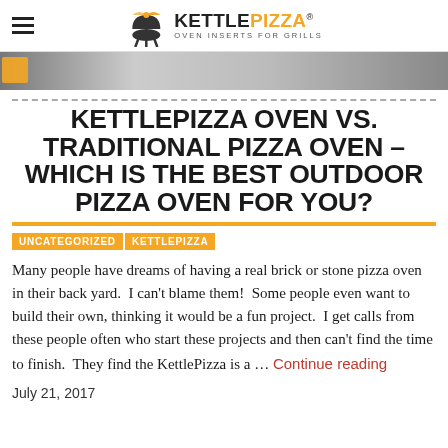KETTLE PIZZA — OVEN INSERTS FOR GRILLS
[Figure (photo): Hero image strip showing a pizza or grill surface, partially visible, with an orange element at the left.]
KETTLEPIZZA OVEN VS. TRADITIONAL PIZZA OVEN – WHICH IS THE BEST OUTDOOR PIZZA OVEN FOR YOU?
UNCATEGORIZED | KETTLEPIZZA
Many people have dreams of having a real brick or stone pizza oven in their back yard.  I can't blame them!  Some people even want to build their own, thinking it would be a fun project.  I get calls from these people often who start these projects and then can't find the time to finish.  They find the KettlePizza is a … Continue reading
July 21, 2017